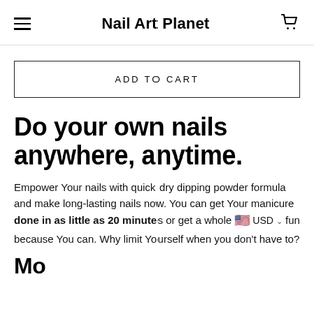Nail Art Planet
ADD TO CART
Do your own nails anywhere, anytime.
Empower Your nails with quick dry dipping powder formula and make long-lasting nails now. You can get Your manicure done in as little as 20 minutes or get a whole 🇺🇸 USD ∨ fun because You can. Why limit Yourself when you don't have to?
More here...